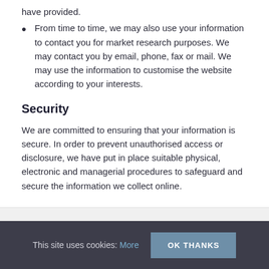have provided.
From time to time, we may also use your information to contact you for market research purposes. We may contact you by email, phone, fax or mail. We may use the information to customise the website according to your interests.
Security
We are committed to ensuring that your information is secure. In order to prevent unauthorised access or disclosure, we have put in place suitable physical, electronic and managerial procedures to safeguard and secure the information we collect online.
This site uses cookies: More  OK THANKS